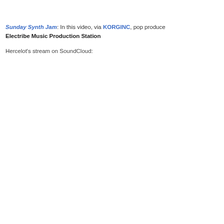Sunday Synth Jam: In this video, via KORGINC, pop produce Electribe Music Production Station

Hercelot's stream on SoundCloud: